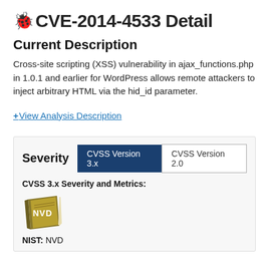CVE-2014-4533 Detail
Current Description
Cross-site scripting (XSS) vulnerability in ajax_functions.php in 1.0.1 and earlier for WordPress allows remote attackers to inject arbitrary HTML via the hid_id parameter.
+View Analysis Description
| Severity | CVSS Version 3.x | CVSS Version 2.0 |
| --- | --- | --- |
CVSS 3.x Severity and Metrics:
[Figure (logo): NVD book logo in gold/olive color]
NIST: NVD